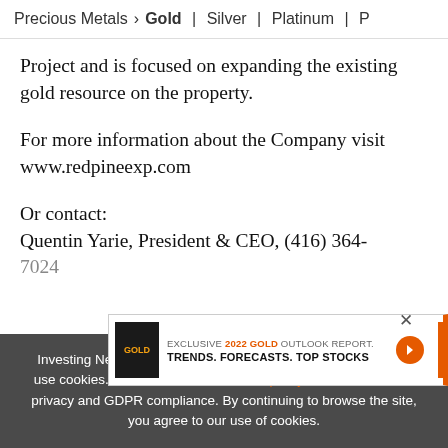Precious Metals > Gold | Silver | Platinum | P
Project and is focused on expanding the existing gold resource on the property.
For more information about the Company visit www.redpineexp.com
Or contact:
Quentin Yarie, President & CEO, (416) 364-7024
[Figure (screenshot): Advertisement banner: EXCLUSIVE 2022 GOLD OUTLOOK REPORT. TRENDS. FORECASTS. TOP STOCKS with orange arrow button and gold book image]
Investing News Network websites or approved third-party tools use cookies. Please refer to the cookie policy for collected data, privacy and GDPR compliance. By continuing to browse the site, you agree to our use of cookies.